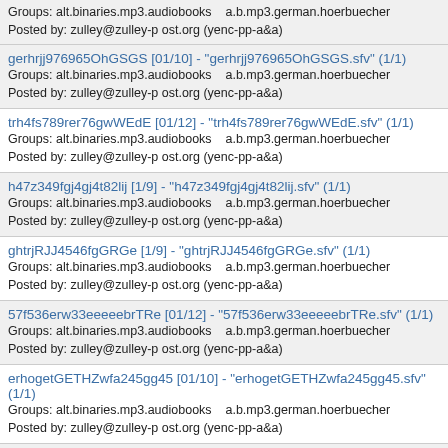Groups: alt.binaries.mp3.audiobooks    a.b.mp3.german.hoerbuecher
Posted by: zulley@zulley-p ost.org (yenc-pp-a&amp;a)
gerhrjj976965OhGSGS [01/10] - "gerhrjj976965OhGSGS.sfv" (1/1)
Groups: alt.binaries.mp3.audiobooks    a.b.mp3.german.hoerbuecher
Posted by: zulley@zulley-p ost.org (yenc-pp-a&amp;a)
trh4fs789rer76gwWEdE [01/12] - "trh4fs789rer76gwWEdE.sfv" (1/1)
Groups: alt.binaries.mp3.audiobooks    a.b.mp3.german.hoerbuecher
Posted by: zulley@zulley-p ost.org (yenc-pp-a&amp;a)
h47z349fgj4gj4t82lij [1/9] - "h47z349fgj4gj4t82lij.sfv" (1/1)
Groups: alt.binaries.mp3.audiobooks    a.b.mp3.german.hoerbuecher
Posted by: zulley@zulley-p ost.org (yenc-pp-a&amp;a)
ghtrjRJJ4546fgGRGe [1/9] - "ghtrjRJJ4546fgGRGe.sfv" (1/1)
Groups: alt.binaries.mp3.audiobooks    a.b.mp3.german.hoerbuecher
Posted by: zulley@zulley-p ost.org (yenc-pp-a&amp;a)
57f536erw33eeeeebrTRe [01/12] - "57f536erw33eeeeebrTRe.sfv" (1/1)
Groups: alt.binaries.mp3.audiobooks    a.b.mp3.german.hoerbuecher
Posted by: zulley@zulley-p ost.org (yenc-pp-a&amp;a)
erhogetGETHZwfa245gg45 [01/10] - "erhogetGETHZwfa245gg45.sfv" (1/1)
Groups: alt.binaries.mp3.audiobooks    a.b.mp3.german.hoerbuecher
Posted by: zulley@zulley-p ost.org (yenc-pp-a&amp;a)
Lliqj47dg4kDG4wevV75s [01/12] - "Lliqj47dg4kDG4wevV75s.sfv" (1/1)
Groups: alt.binaries.mp3.audiobooks    a.b.mp3.german.hoerbuecher
Posted by: zulley@zulley-p ost.org (yenc-pp-a&amp;a)
bnzuZTIs47fgrGthd4nt [1/8] - "bnzuZTIs47fgrGthd4nt.sfv" (1/1)
Groups: alt.binaries.mp3.audiobooks    a.b.mp3.german.hoerbuecher
Posted by: zulley@zulley-p ost.org (yenc-pp-a&amp;a)